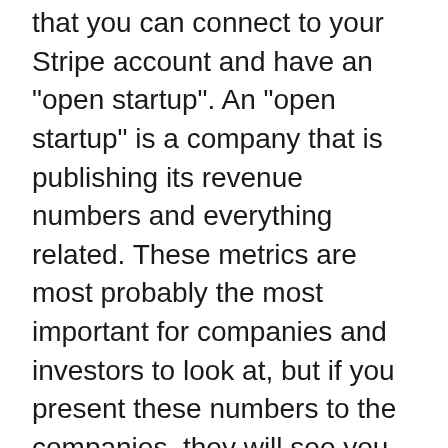that you can connect to your Stripe account and have an "open startup". An "open startup" is a company that is publishing its revenue numbers and everything related. These metrics are most probably the most important for companies and investors to look at, but if you present these numbers to the companies, they will see you have some kind of business sense which is making you more valuable.
Overall, you need to guess which section might be most important for the company to look at. Startups are mostly looking for Engineers who have experience with everything which also includes business-related topics. This results in your personal projects into being more